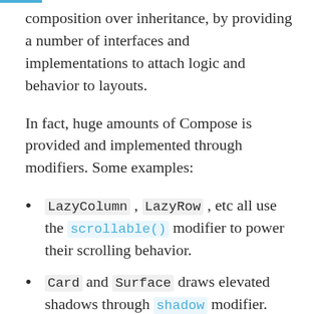composition over inheritance, by providing a number of interfaces and implementations to attach logic and behavior to layouts.
In fact, huge amounts of Compose is provided and implemented through modifiers. Some examples:
LazyColumn , LazyRow , etc all use the scrollable() modifier to power their scrolling behavior.
Card and Surface draws elevated shadows through shadow modifier.
There's a huge list of modifiers available